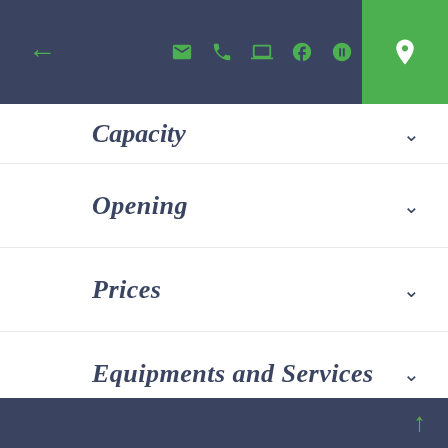← [icons] [map pin]
Capacity
Opening
Prices
Equipments and Services
Reviews
YOU MAY ALSO LIKE...
↑